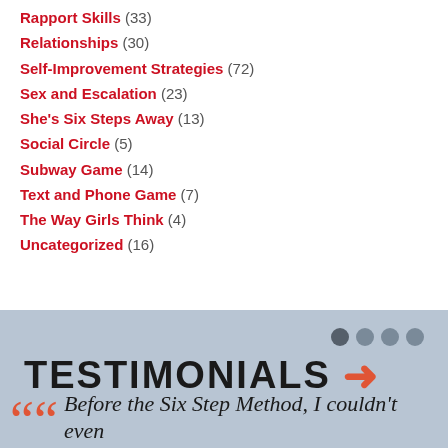Rapport Skills (33)
Relationships (30)
Self-Improvement Strategies (72)
Sex and Escalation (23)
She's Six Steps Away (13)
Social Circle (5)
Subway Game (14)
Text and Phone Game (7)
The Way Girls Think (4)
Uncategorized (16)
TESTIMONIALS →
Before the Six Step Method, I couldn't even